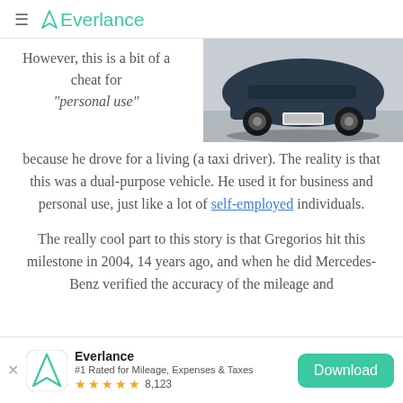≡ Everlance
However, this is a bit of a cheat for "personal use"
[Figure (photo): Rear view of a dark-colored car (Mercedes-Benz) photographed from above/behind]
because he drove for a living (a taxi driver). The reality is that this was a dual-purpose vehicle. He used it for business and personal use, just like a lot of self-employed individuals.
The really cool part to this story is that Gregorios hit this milestone in 2004, 14 years ago, and when he did Mercedes-Benz verified the accuracy of the mileage and
Everlance — #1 Rated for Mileage, Expenses & Taxes — 8,123 reviews — Download